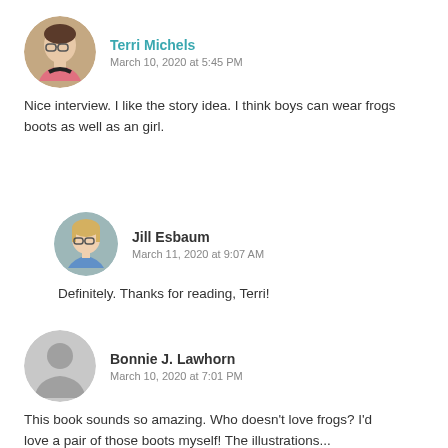[Figure (photo): Round avatar photo of Terri Michels, a woman with glasses and short dark hair wearing a pink top]
Terri Michels
March 10, 2020 at 5:45 PM
Nice interview. I like the story idea. I think boys can wear frogs boots as well as an girl.
[Figure (photo): Round avatar photo of Jill Esbaum, a woman with glasses and blonde hair wearing a blue scarf]
Jill Esbaum
March 11, 2020 at 9:07 AM
Definitely. Thanks for reading, Terri!
[Figure (photo): Round default gray avatar silhouette for Bonnie J. Lawhorn]
Bonnie J. Lawhorn
March 10, 2020 at 7:01 PM
This book sounds so amazing. Who doesn't love frogs? I'd love a pair of those boots myself! The illustrations...